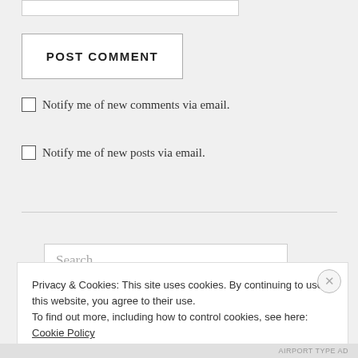[Figure (screenshot): A partial web form input box at the top of the page]
POST COMMENT
Notify me of new comments via email.
Notify me of new posts via email.
Search ...
Privacy & Cookies: This site uses cookies. By continuing to use this website, you agree to their use.
To find out more, including how to control cookies, see here: Cookie Policy
Close and accept
AIPORT TYPE AD